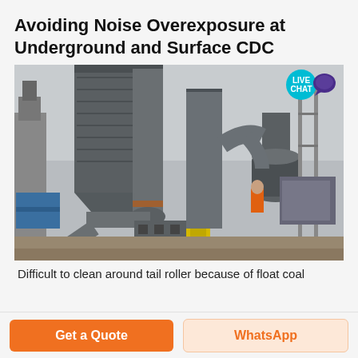Avoiding Noise Overexposure at Underground and Surface CDC
[Figure (photo): Industrial dust collection / grinding mill equipment outdoors: large grey cylindrical silos and conical hoppers connected by large diameter grey ductwork, with a smaller vertical mill on the right side. A worker in orange is visible in the background. Yellow motor/coupling visible at center. Blue containers on left side.]
Difficult to clean around tail roller because of float coal
Get a Quote
WhatsApp